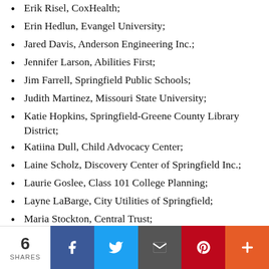Erik Risel, CoxHealth;
Erin Hedlun, Evangel University;
Jared Davis, Anderson Engineering Inc.;
Jennifer Larson, Abilities First;
Jim Farrell, Springfield Public Schools;
Judith Martinez, Missouri State University;
Katie Hopkins, Springfield-Greene County Library District;
Katiina Dull, Child Advocacy Center;
Laine Scholz, Discovery Center of Springfield Inc.;
Laurie Goslee, Class 101 College Planning;
Layne LaBarge, City Utilities of Springfield;
Maria Stockton, Central Trust;
Marlon Re'Sean Graves, TMP Professional
6 SHARES